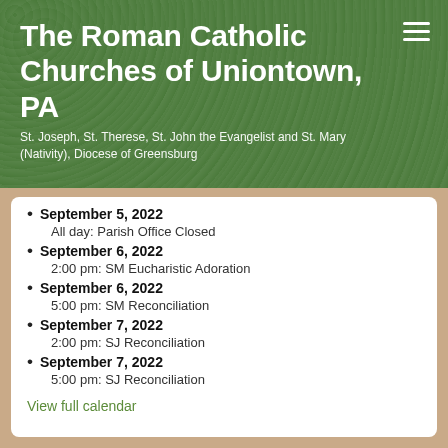The Roman Catholic Churches of Uniontown, PA
St. Joseph, St. Therese, St. John the Evangelist and St. Mary (Nativity), Diocese of Greensburg
September 5, 2022
All day: Parish Office Closed
September 6, 2022
2:00 pm: SM Eucharistic Adoration
September 6, 2022
5:00 pm: SM Reconciliation
September 7, 2022
2:00 pm: SJ Reconciliation
September 7, 2022
5:00 pm: SJ Reconciliation
View full calendar